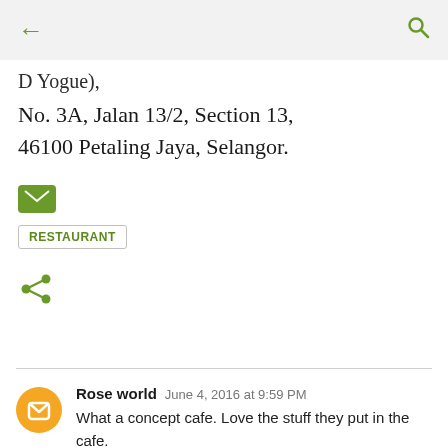← (back) Q (search)
D Yogue,),
No. 3A, Jalan 13/2, Section 13, 46100 Petaling Jaya, Selangor.
[Figure (illustration): Green email/envelope icon]
RESTAURANT
[Figure (illustration): Green share icon]
Rose world  June 4, 2016 at 9:59 PM
What a concept cafe. Love the stuff they put in the cafe.